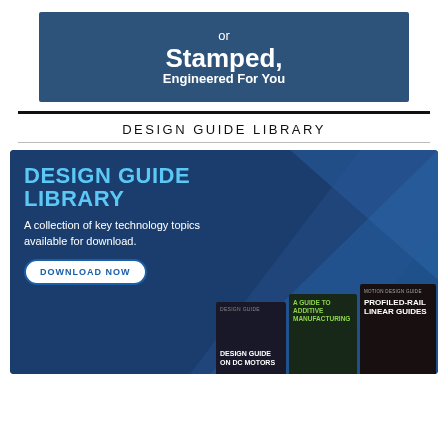[Figure (illustration): Top banner advertisement with dark blue background showing text 'or Stamped, Engineered For You' in white bold text]
DESIGN GUIDE LIBRARY
[Figure (illustration): Design Guide Library advertisement banner with dark blue background, geometric diagonal shapes, title 'DESIGN GUIDE LIBRARY' in light blue text, subtitle 'A collection of key technology topics available for download.', a DOWNLOAD NOW button, and book cover images including 'Design Guide on DC Motors', 'A Guide to Additive Manufacturing', and 'Profiled-Rail Linear Guides']